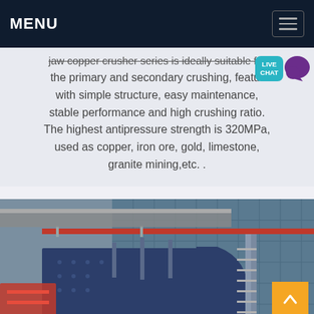MENU
jaw copper crusher series is ideally suitable for the primary and secondary crushing, featuring with simple structure, easy maintenance, stable performance and high crushing ratio. The highest antipressure strength is 320MPa, used as copper, iron ore, gold, limestone, granite mining,etc. .
[Figure (photo): Large industrial jaw crusher machine photographed outdoors against a building with glass facade and steel framework. The heavy machinery is dark blue/grey colored with red pipes visible in the background and metal staircases.]